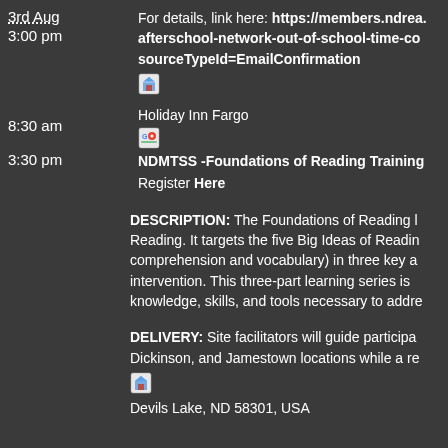3rd Aug
3:00 pm
For details, link here: https://members.ndrea... afterschool-network-out-of-school-time-co... sourceTypeId=EmailConfirmation
8:30 am
Holiday Inn Fargo
3:30 pm
NDMTSS -Foundations of Reading Training
Register Here
DESCRIPTION: The Foundations of Reading l... Reading. It targets the five Big Ideas of Reading... comprehension and vocabulary) in three key a... intervention. This three-part learning series is... knowledge, skills, and tools necessary to addre...
DELIVERY: Site facilitators will guide participa... Dickinson, and Jamestown locations while a re...
Devils Lake, ND 58301, USA